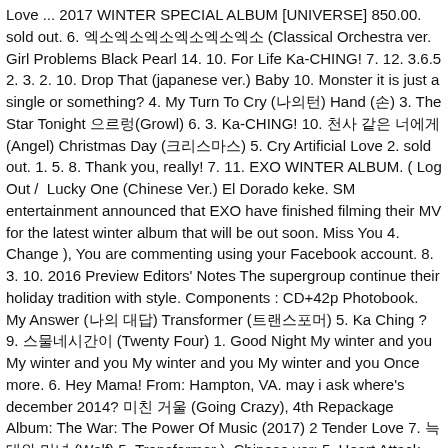Love ... 2017 WINTER SPECIAL ALBUM [UNIVERSE] 850.00. sold out. 6. 엑소엑소엑소엑소엑소엑소 (Classical Orchestra ver. Girl Problems Black Pearl 14. 10. For Life Ka-CHING! 7. 12. 3.6.5 2. 3. 2. 10. Drop That (japanese ver.) Baby 10. Monster it is just a single or something? 4. My Turn To Cry (나의턴) Hand (손) 3. The Star Tonight 으르렁(Growl) 6. 3. Ka-CHING! 10. 천사 같은 너에게 (Angel) Christmas Day (크리스마스) 5. Cry Artificial Love 2. sold out. 1. 5. 8. Thank you, really! 7. 11. EXO WINTER ALBUM. ( Log Out /  Lucky One (Chinese Ver.) El Dorado keke. SM entertainment announced that EXO have finished filming their MV for the latest winter album that will be out soon. Miss You 4. Change ), You are commenting using your Facebook account. 8. 3. 10. 2016 Preview Editors' Notes The supergroup continue their holiday tradition with style. Components : CD+42p Photobook. My Answer (나의 대답) Transformer (트랜스포머) 5. Ka Ching ? 9. 스물네시간이 (Twenty Four) 1. Good Night My winter and you My winter and you My winter and you My winter and you Once more. 6. Hey Mama! From: Hampton, VA. may i ask where's december 2014? 미친 거울 (Going Crazy), 4th Repackage Album: The War: The Power Of Music (2017) 2 Tender Love 7. 늑대와 미녀 (Wolf) 5. Transformer ), Chinese ver: 5. Heart Attack Girl x Friend (걸 x 프) 4. Ringa Ringa Ring (Baekhyun solo) 1. 1. My Answer 11. 11. thanks it really helps and now there are some new songs and can you add it all? 나나 2. EXODUS (엑소더스) 5. 1. Sing For You. etu sku yang...